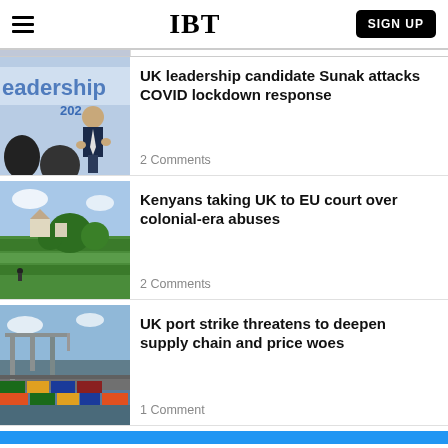IBT | SIGN UP
UK leadership candidate Sunak attacks COVID lockdown response
2 Comments
Kenyans taking UK to EU court over colonial-era abuses
2 Comments
UK port strike threatens to deepen supply chain and price woes
1 Comment